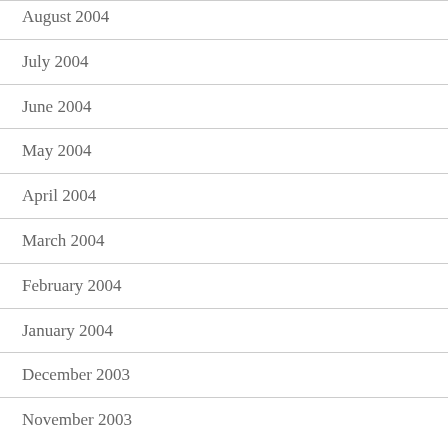August 2004
July 2004
June 2004
May 2004
April 2004
March 2004
February 2004
January 2004
December 2003
November 2003